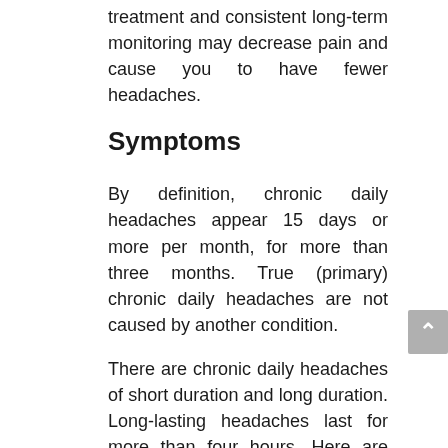treatment and consistent long-term monitoring may decrease pain and cause you to have fewer headaches.
Symptoms
By definition, chronic daily headaches appear 15 days or more per month, for more than three months. True (primary) chronic daily headaches are not caused by another condition.
There are chronic daily headaches of short duration and long duration. Long-lasting headaches last for more than four hours. Here are some of them: